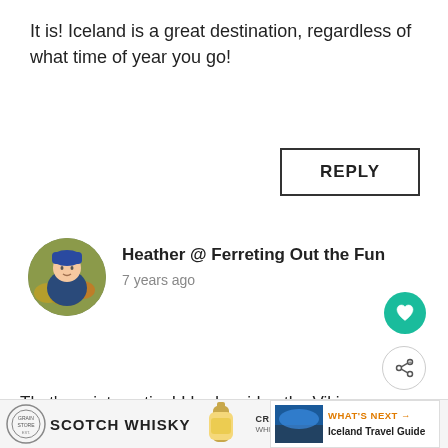It is! Iceland is a great destination, regardless of what time of year you go!
REPLY
[Figure (photo): Circular avatar photo of Heather, a person lying in autumn leaves wearing a blue hat and jacket]
Heather @ Ferreting Out the Fun
7 years ago
[Figure (other): Teal circular like/heart button]
[Figure (other): Share button with plus icon]
That’s so interesting! I had no idea the Vikings misnamed the islands on purpose. Sma Air Baltic has just announced direct flights between
[Figure (other): WHAT'S NEXT card showing Iceland Travel Guide with a scenic photo]
[Figure (other): Advertisement bar: Scotch Whisky ad with logo, bottle image, and Crabbe branding]